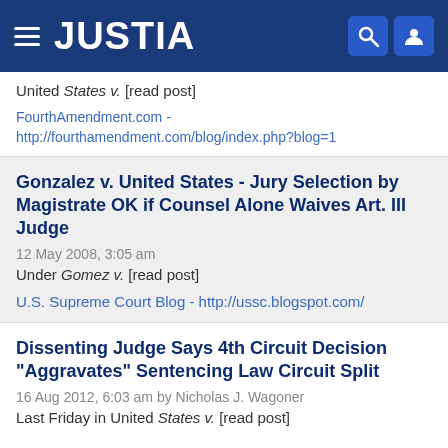JUSTIA
United States v. [read post]
FourthAmendment.com - http://fourthamendment.com/blog/index.php?blog=1
Gonzalez v. United States - Jury Selection by Magistrate OK if Counsel Alone Waives Art. III Judge
12 May 2008, 3:05 am
Under Gomez v. [read post]
U.S. Supreme Court Blog - http://ussc.blogspot.com/
Dissenting Judge Says 4th Circuit Decision "Aggravates" Sentencing Law Circuit Split
16 Aug 2012, 6:03 am by Nicholas J. Wagoner
Last Friday in United States v. [read post]